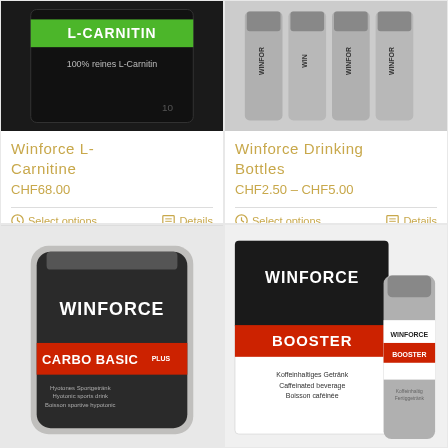[Figure (photo): Winforce L-Carnitine black bag with green label showing 'L-CARNITIN' and '100% reines L-Carnitin']
Winforce L-Carnitine
CHF68.00
Select options   Details
[Figure (photo): Winforce Drinking Bottles - silver/grey bottles with WINFORCE text]
Winforce Drinking Bottles
CHF2.50 – CHF5.00
Select options   Details
[Figure (photo): Winforce Carbo Basic Plus black foil bag with red stripe, hyotonic sports drink]
[Figure (photo): Winforce Booster box and bottle - caffeinated beverage, Koffeinhaltiges Getränk]